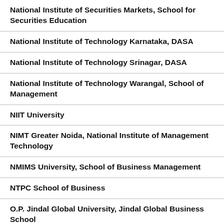National Institute of Securities Markets, School for Securities Education
National Institute of Technology Karnataka, DASA
National Institute of Technology Srinagar, DASA
National Institute of Technology Warangal, School of Management
NIIT University
NIMT Greater Noida, National Institute of Management Technology
NMIMS University, School of Business Management
NTPC School of Business
O.P. Jindal Global University, Jindal Global Business School
O.P. Jindal Global University, Jindal School for Psychology